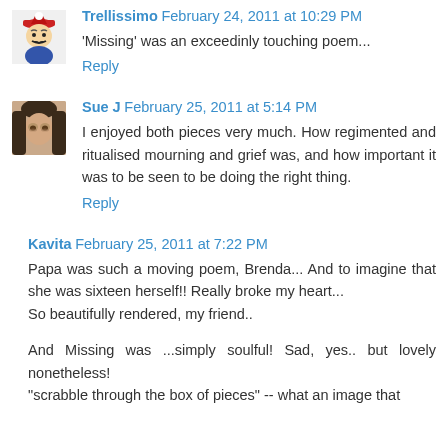Trellissimo February 24, 2011 at 10:29 PM
'Missing' was an exceedinly touching poem...
Reply
Sue J February 25, 2011 at 5:14 PM
I enjoyed both pieces very much. How regimented and ritualised mourning and grief was, and how important it was to be seen to be doing the right thing.
Reply
Kavita February 25, 2011 at 7:22 PM
Papa was such a moving poem, Brenda... And to imagine that she was sixteen herself!! Really broke my heart... So beautifully rendered, my friend..
And Missing was ...simply soulful! Sad, yes.. but lovely nonetheless! "scrabble through the box of pieces" -- what an image that